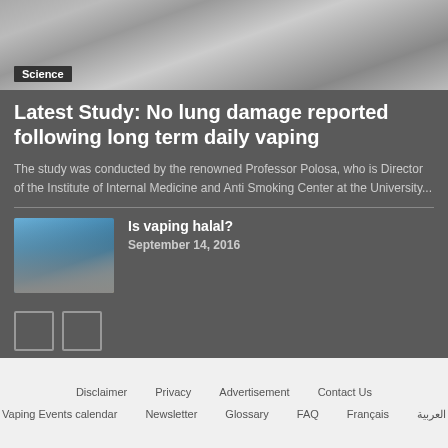[Figure (photo): Chest X-ray image showing lungs, grayscale medical imaging]
Science
Latest Study: No lung damage reported following long term daily vaping
The study was conducted by the renowned Professor Polosa, who is Director of the Institute of Internal Medicine and Anti Smoking Center at the University...
[Figure (photo): Photo of a mosque with a minaret against a blue sky with ocean/sea in the foreground]
Is vaping halal?
September 14, 2016
Disclaimer   Privacy   Advertisement   Contact Us   Vaping Events calendar   Newsletter   Glossary   FAQ   Français   العربية